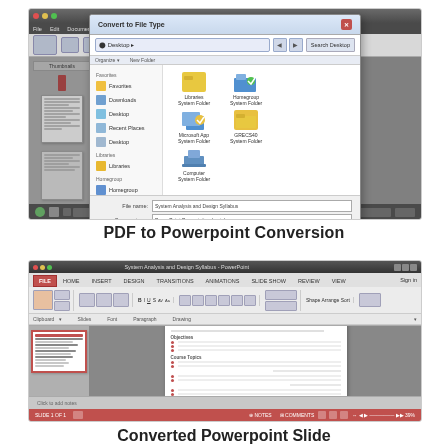[Figure (screenshot): Screenshot of a PDF reader application with a 'Convert to File Type' save dialog open, showing file system navigation with folders and icons. The dialog shows 'Save As Type: PowerPoint Presentation (.pptx)' with navigation to 'System Analysis and Design Syllabus' folder.]
PDF to Powerpoint Conversion
[Figure (screenshot): Screenshot of Microsoft PowerPoint 2013/2016 application with a converted slide displayed. The slide panel on the left shows a thumbnail with red border. The main editing area shows a slide with text content from the converted PDF (System Analysis and Design Syllabus). The red PowerPoint ribbon is visible at the top with HOME tab active.]
Converted Powerpoint Slide